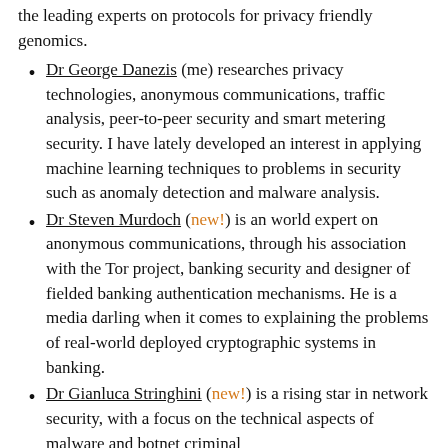the leading experts on protocols for privacy friendly genomics.
Dr George Danezis (me) researches privacy technologies, anonymous communications, traffic analysis, peer-to-peer security and smart metering security. I have lately developed an interest in applying machine learning techniques to problems in security such as anomaly detection and malware analysis.
Dr Steven Murdoch (new!) is an world expert on anonymous communications, through his association with the Tor project, banking security and designer of fielded banking authentication mechanisms. He is a media darling when it comes to explaining the problems of real-world deployed cryptographic systems in banking.
Dr Gianluca Stringhini (new!) is a rising star in network security, with a focus on the technical aspects of malware and botnet criminal...